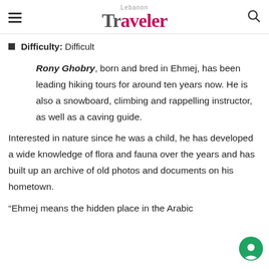Lebanon Traveler
Difficulty: Difficult
Rony Ghobry, born and bred in Ehmej, has been leading hiking tours for around ten years now. He is also a snowboard, climbing and rappelling instructor, as well as a caving guide.
Interested in nature since he was a child, he has developed a wide knowledge of flora and fauna over the years and has built up an archive of old photos and documents on his hometown.
“Ehmej means the hidden place in the Arabic